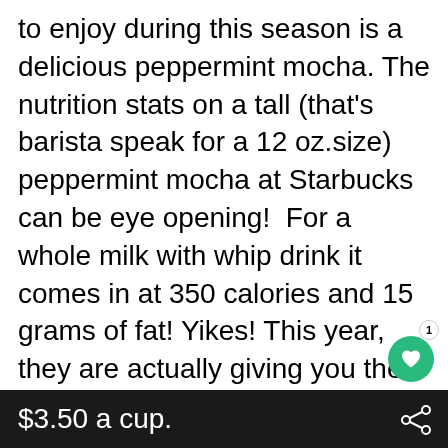to enjoy during this season is a delicious peppermint mocha. The nutrition stats on a tall (that's barista speak for a 12 oz.size) peppermint mocha at Starbucks can be eye opening!  For a whole milk with whip drink it comes in at 350 calories and 15 grams of fat! Yikes! This year, they are actually giving you the option of making it skinny...which is awesome. The tall Skinny Peppermint Mocha is a respectable 100 calories and 1 gram of fat...of course, it doesn't have any whipped cream and it is made with artificial sweeteners. It's also kind of pricey at arou
$3.50 a cup.